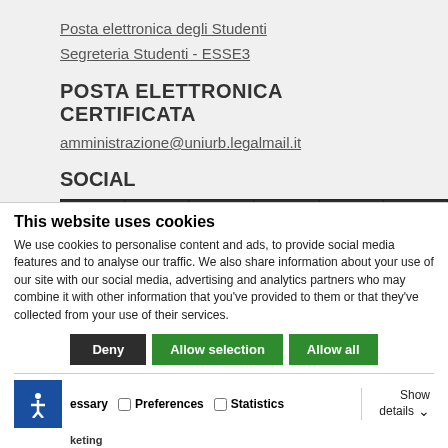Posta elettronica degli Studenti
Segreteria Studenti - ESSE3
POSTA ELETTRONICA CERTIFICATA
amministrazione@uniurb.legalmail.it
SOCIAL
[Figure (infographic): Social media icons row: Facebook, Twitter, YouTube, LinkedIn, Instagram, Flickr — white icons on dark background squares]
This website uses cookies
We use cookies to personalise content and ads, to provide social media features and to analyse our traffic. We also share information about your use of our site with our social media, advertising and analytics partners who may combine it with other information that you've provided to them or that they've collected from your use of their services.
Deny | Allow selection | Allow all
essary  Preferences  Statistics  Show details  keting